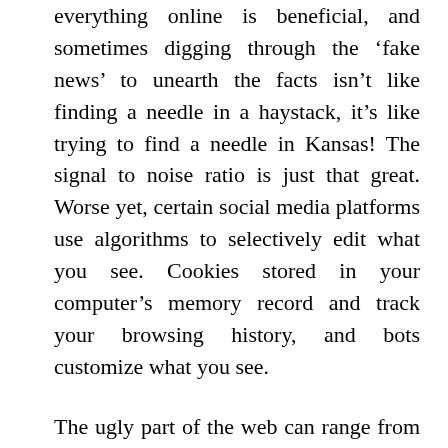everything online is beneficial, and sometimes digging through the 'fake news' to unearth the facts isn't like finding a needle in a haystack, it's like trying to find a needle in Kansas! The signal to noise ratio is just that great. Worse yet, certain social media platforms use algorithms to selectively edit what you see. Cookies stored in your computer's memory record and track your browsing history, and bots customize what you see.
The ugly part of the web can range from annoying to horrific. There are some things online that you do NOT want to see, the stuff of nightmares placed online either as a warning, or because some sick individual wanted to share it because they liked it. What has been